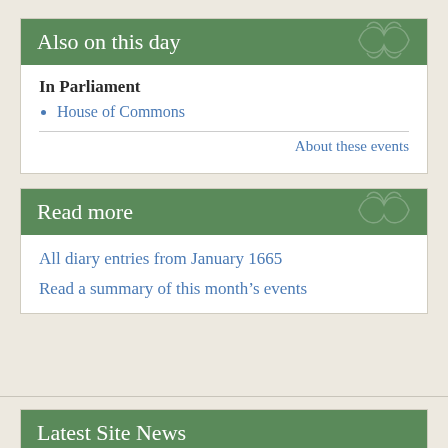Also on this day
In Parliament
House of Commons
About these events
Read more
All diary entries from January 1665
Read a summary of this month's events
Latest Site News